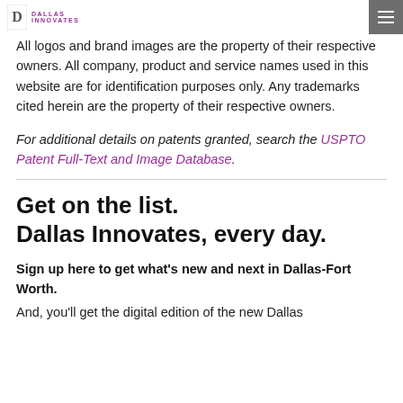Dallas Innovates
All logos and brand images are the property of their respective owners. All company, product and service names used in this website are for identification purposes only. Any trademarks cited herein are the property of their respective owners.
For additional details on patents granted, search the USPTO Patent Full-Text and Image Database.
Get on the list.
Dallas Innovates, every day.
Sign up here to get what's new and next in Dallas-Fort Worth.
And, you'll get the digital edition of the new Dallas